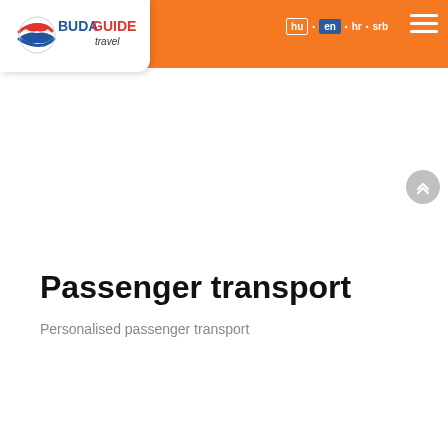[Figure (logo): BudaGuide Travel logo — globe with red/blue swoosh, text BUDAGUIDE Travel on white card]
hu • en • hr • srb
Passenger transport
Personalised passenger transport